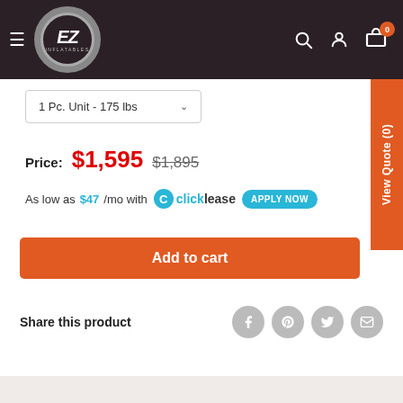EZ Inflatables - navigation header with logo, search, account, cart (0), View Quote (0)
1 Pc. Unit - 175 lbs
Price: $1,595  $1,895
As low as $47/mo with clicklease APPLY NOW
Add to cart
Share this product